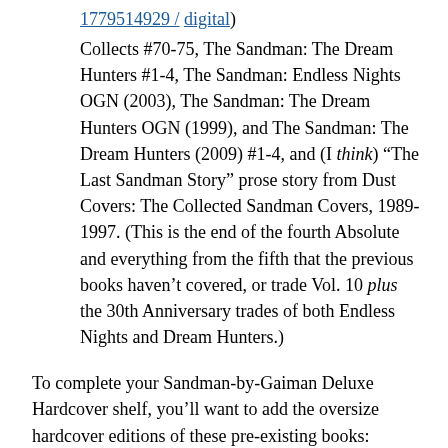1779514929 / digital)
Collects #70-75, The Sandman: The Dream Hunters #1-4, The Sandman: Endless Nights OGN (2003), The Sandman: The Dream Hunters OGN (1999), and The Sandman: The Dream Hunters (2009) #1-4, and (I think) "The Last Sandman Story" prose story from Dust Covers: The Collected Sandman Covers, 1989-1997. (This is the end of the fourth Absolute and everything from the fifth that the previous books haven't covered, or trade Vol. 10 plus the 30th Anniversary trades of both Endless Nights and Dream Hunters.)
To complete your Sandman-by-Gaiman Deluxe Hardcover shelf, you'll want to add the oversize hardcover editions of these pre-existing books:
The Sandman: Overture (2015 deluxe oversize hardcover)